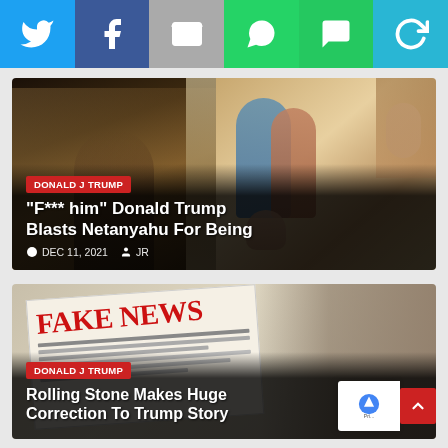[Figure (screenshot): Social media share bar with Twitter, Facebook, Email, WhatsApp, SMS, and refresh buttons]
[Figure (photo): Article card with two photos: Trump at Western Wall on left, Kushner family photo on right. Category tag: DONALD J TRUMP. Title: "F*** him" Donald Trump Blasts Netanyahu For Being. Date: DEC 11, 2021. Author: JR]
[Figure (photo): Article card with Fake News newspaper photo. Category tag: DONALD J TRUMP. Title: Rolling Stone Makes Huge Correction To Trump Story]